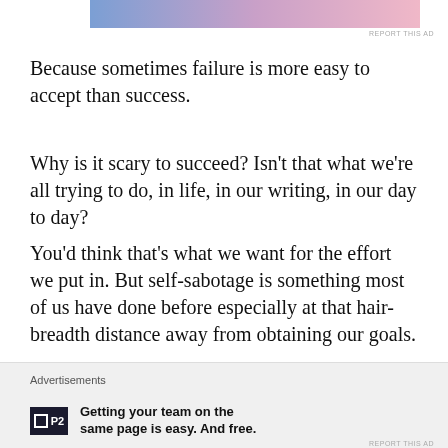[Figure (other): Advertisement banner with blue-to-pink gradient at top of page]
Because sometimes failure is more easy to accept than success.
Why is it scary to succeed? Isn't that what we're all trying to do, in life, in our writing, in our day to day?
You'd think that's what we want for the effort we put in. But self-sabotage is something most of us have done before especially at that hair-breadth distance away from obtaining our goals.
Maybe it's the unknown aftermath of success...or the expectation to always be searching for the next
Advertisements
[Figure (logo): P2 app logo — dark square with grid icon and P2 text]
Getting your team on the same page is easy. And free.